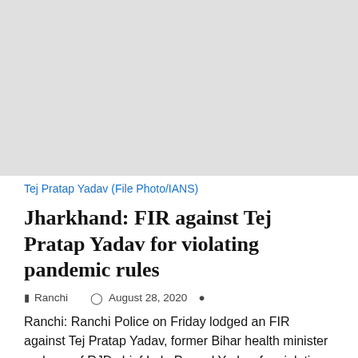[Figure (photo): File photo of Tej Pratap Yadav, light gray background placeholder image]
Tej Pratap Yadav (File Photo/IANS)
Jharkhand: FIR against Tej Pratap Yadav for violating pandemic rules
Ranchi   August 28, 2020
Ranchi: Ranchi Police on Friday lodged an FIR against Tej Pratap Yadav, former Bihar health minister and son of RJD chief Lalu Prasad Yadav, for violating the Jharkhand government's order during the Covid-19 pandemic, officials said. The FIR has been